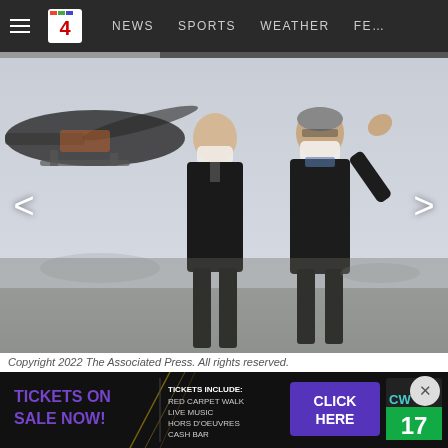NEWS  SPORTS  WEATHER  FEA...
[Figure (photo): Two men wearing face masks standing outdoors near a military aircraft. One man on the right is gesturing with his hand. Both are dressed in dark clothing. Background shows blurred landscape and light sky.]
Copyright 2022 The Associated Press. All rights reserved.
NATO Secretary General Jens Stoltenberg, right, and Romania's President Klaus Iohannis inspect the Mihail
[Figure (infographic): Advertisement banner: TICKETS ON SALE NOW! TICKETS INCLUDE: RED CARPET WALK, LIVE MUSIC, HORS D'OEUVRES, CASH BAR. CLICK HERE. CW 17 logo.]